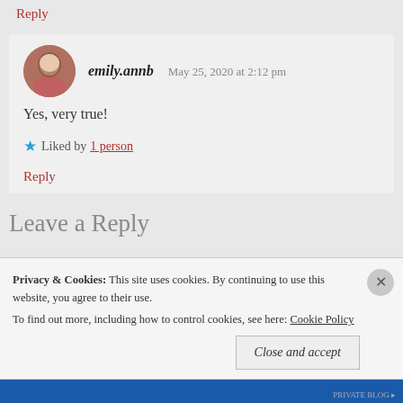Reply
emily.annb   May 25, 2020 at 2:12 pm
Yes, very true!
Liked by 1 person
Reply
Leave a Reply
Privacy & Cookies: This site uses cookies. By continuing to use this website, you agree to their use. To find out more, including how to control cookies, see here: Cookie Policy
Close and accept